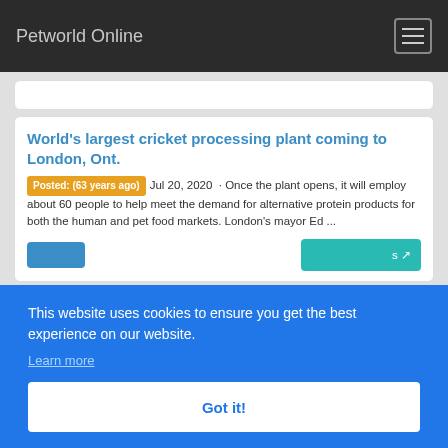Petworld Online
World's largest cricket processing plant coming to London, Ont.
Posted: (63 years ago) Jul 20, 2020 · Once the plant opens, it will employ about 60 people to help meet the demand for alternative protein products for both the human and pet food markets. London's mayor Ed ...
ig to
ming
...
This website uses cookies to ensure you get the best experience on our website.
Learn more
Got it!